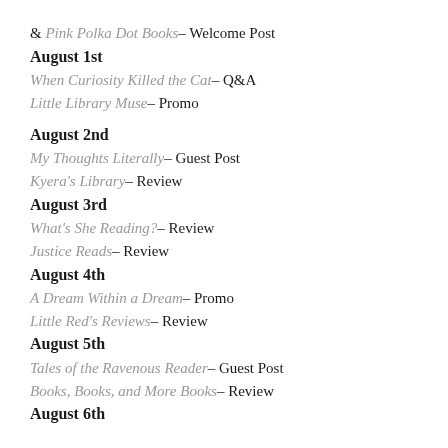& Pink Polka Dot Books– Welcome Post
August 1st
When Curiosity Killed the Cat– Q&A
Little Library Muse– Promo
August 2nd
My Thoughts Literally– Guest Post
Kyera's Library– Review
August 3rd
What's She Reading?– Review
Justice Reads– Review
August 4th
A Dream Within a Dream– Promo
Little Red's Reviews– Review
August 5th
Tales of the Ravenous Reader– Guest Post
Books, Books, and More Books– Review
August 6th